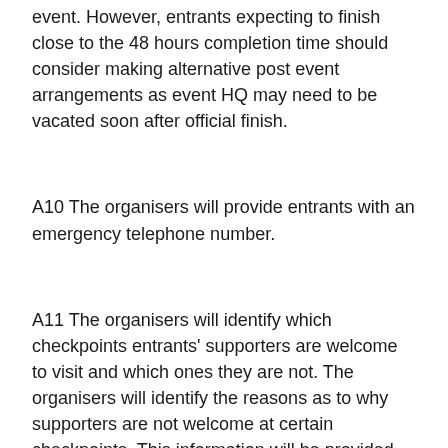event. However, entrants expecting to finish close to the 48 hours completion time should consider making alternative post event arrangements as event HQ may need to be vacated soon after official finish.
A10 The organisers will provide entrants with an emergency telephone number.
A11 The organisers will identify which checkpoints entrants' supporters are welcome to visit and which ones they are not. The organisers will identify the reasons as to why supporters are not welcome at certain checkpoints. This information will be provided on the event website.